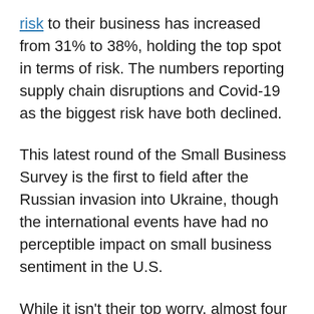risk to their business has increased from 31% to 38%, holding the top spot in terms of risk. The numbers reporting supply chain disruptions and Covid-19 as the biggest risk have both declined.
This latest round of the Small Business Survey is the first to field after the Russian invasion into Ukraine, though the international events have had no perceptible impact on small business sentiment in the U.S.
While it isn't their top worry, almost four in 10 small business owners say they are very or somewhat concerned their business will be the victim of a cyber attack within the next 12 months. This trend, too, has held steady for four straight quarters, with no change at all since the Russian incursion into Ukraine.